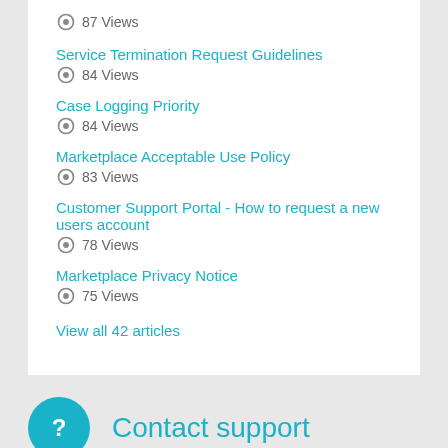87 Views
Service Termination Request Guidelines
84 Views
Case Logging Priority
84 Views
Marketplace Acceptable Use Policy
83 Views
Customer Support Portal - How to request a new users account
78 Views
Marketplace Privacy Notice
75 Views
View all 42 articles
Contact support